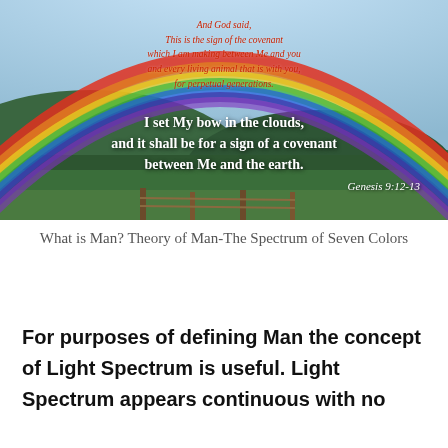[Figure (photo): A rainbow arching over green hills and countryside with a blue sky. Overlaid text includes a Bible verse in red italic at the top and bold white text below reading 'I set My bow in the clouds, and it shall be for a sign of a covenant between Me and the earth.' with 'Genesis 9:12-13' in the lower right.]
What is Man? Theory of Man-The Spectrum of Seven Colors
For purposes of defining Man the concept of Light Spectrum is useful. Light Spectrum appears continuous with no